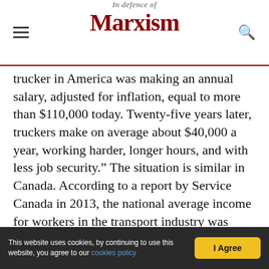In defence of Marxism
trucker in America was making an annual salary, adjusted for inflation, equal to more than $110,000 today. Twenty-five years later, truckers make on average about $40,000 a year, working harder, longer hours, and with less job security.” The situation is similar in Canada. According to a report by Service Canada in 2013, the national average income for workers in the transport industry was $38,111.
Long working hours and safety are major issues for truckers:
This website uses cookies, by continuing to use this website, you agree to our cookies policy  I Agree